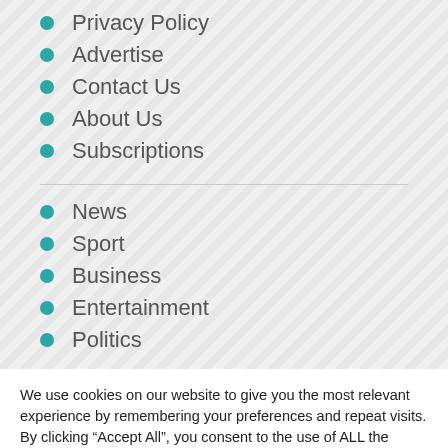Privacy Policy
Advertise
Contact Us
About Us
Subscriptions
News
Sport
Business
Entertainment
Politics
We use cookies on our website to give you the most relevant experience by remembering your preferences and repeat visits. By clicking “Accept All”, you consent to the use of ALL the cookies. However, you may visit "Cookie Settings" to provide a controlled consent.
Cookie Settings
Accept All